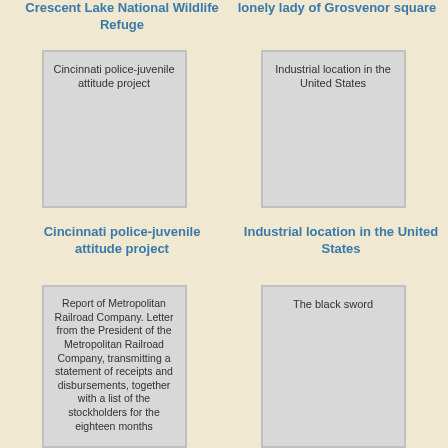Crescent Lake National Wildlife Refuge
lonely lady of Grosvenor square
[Figure (illustration): Book cover placeholder card with text: Cincinnati police-juvenile attitude project]
[Figure (illustration): Book cover placeholder card with text: Industrial location in the United States]
Cincinnati police-juvenile attitude project
Industrial location in the United States
[Figure (illustration): Book cover placeholder card with text: Report of Metropolitan Railroad Company. Letter from the President of the Metropolitan Railroad Company, transmitting a statement of receipts and disbursements, together with a list of the stockholders for the eighteen months]
[Figure (illustration): Book cover placeholder card with text: The black sword]